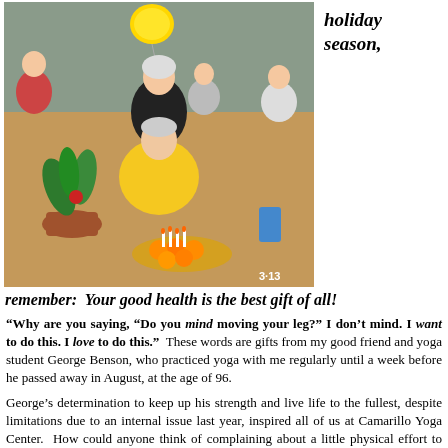[Figure (photo): Two people sitting on a yoga studio floor. A woman in black yoga clothes stands/crouches behind an elderly man in a yellow shirt who is seated cross-legged. There is a balloon, a potted red flower plant, and a plate of oranges with birthday candles in front of them. Other people are sitting in the background on yoga mats. Timestamp '3:13' visible.]
holiday season,
remember:  Your good health is the best gift of all!
“Why are you saying, “Do you mind moving your leg?” I don’t mind. I want to do this. I love to do this.”  These words are gifts from my good friend and yoga student George Benson, who practiced yoga with me regularly until a week before he passed away in August, at the age of 96.
George’s determination to keep up his strength and live life to the fullest, despite limitations due to an internal issue last year, inspired all of us at Camarillo Yoga Center.  How could anyone think of complaining about a little physical effort to stay in good shape, while George made it clear he was not to be babied at 96, and that his lifelong exercise